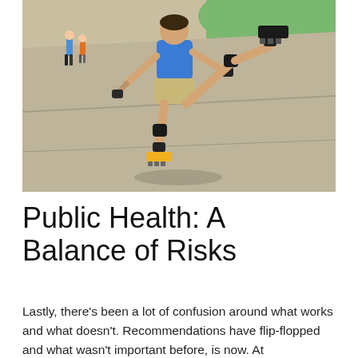[Figure (photo): A person rollerblading on a paved path outdoors, balancing on one skate with the other leg raised high, wearing knee pads, wrist guards, blue shirt and khaki shorts. Other people visible in the background on a sunny day.]
Public Health: A Balance of Risks
Lastly, there’s been a lot of confusion around what works and what doesn’t. Recommendations have flip-flopped and what wasn’t important before, is now. At